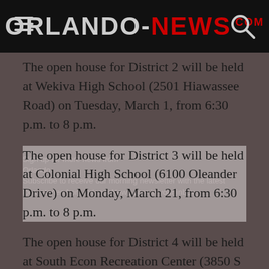ORLANDO-NEWS.COM
The open house for District 2 will be held at Wekiva High School (2501 Hiawassee Road) on Tuesday, March 1, from 6:30 p.m. to 8 p.m.
The open house for District 3 will be held at Colonial High School (6100 Oleander Drive) on Monday, March 21, from 6:30 p.m. to 8 p.m.
The open house for District 4 will be held at South Econ Recreation Center (3850 S Econlockhatchee Trail) on Monday, March 14, from 6:30 p.m. to 8 p.m.
The open house for District 5 will be held at Goldenrod Recreation Center (4863 N Goldenrod Road) on Monday, March 7, from 6:30 p.m. to 8 p.m.